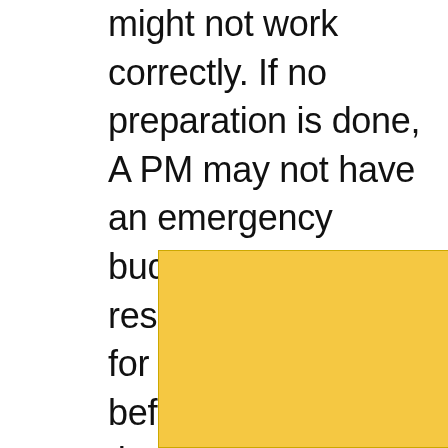might not work correctly. If no preparation is done, A PM may not have an emergency budget and resources estimated for the risks beforehand. Hence, they will have to make drastic changes to the overall plan and budget. The project will stop until the problem is solved, which means it will miss
[Figure (other): Advertisement banner with yellow/gold background showing an airplane icon, navigation controls (forward arrow and close X), and a 'Book Now' button]